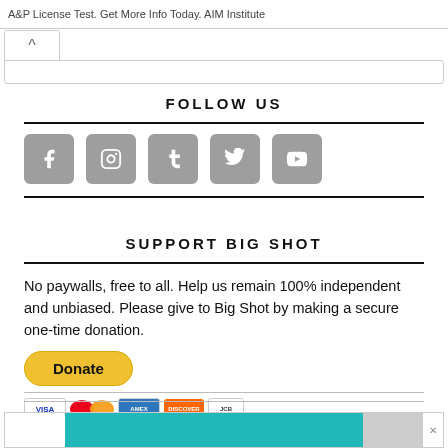A&P License Test. Get More Info Today. AIM Institute
FOLLOW US
[Figure (infographic): Social media icons: Facebook, Instagram, Tumblr, Twitter, YouTube — gray rounded squares with white icons]
SUPPORT BIG SHOT
No paywalls, free to all. Help us remain 100% independent and unbiased. Please give to Big Shot by making a secure one-time donation.
[Figure (infographic): Yellow PayPal Donate button with payment icons below: Visa, Mastercard, Maestro, Amex, Discover, JCB]